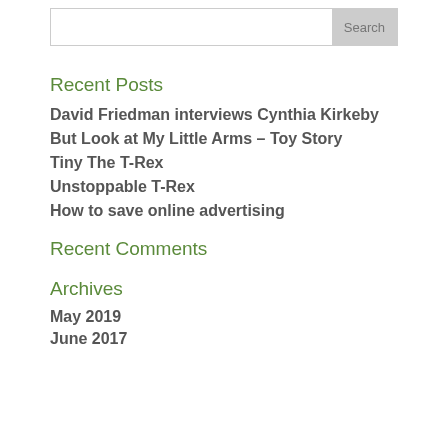[Figure (other): Search input box with Search button]
Recent Posts
David Friedman interviews Cynthia Kirkeby
But Look at My Little Arms – Toy Story
Tiny The T-Rex
Unstoppable T-Rex
How to save online advertising
Recent Comments
Archives
May 2019
June 2017